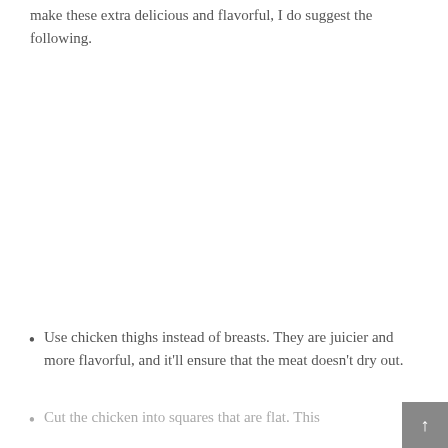make these extra delicious and flavorful, I do suggest the following.
Use chicken thighs instead of breasts. They are juicier and more flavorful, and it'll ensure that the meat doesn't dry out.
Cut the chicken into squares that are flat. This